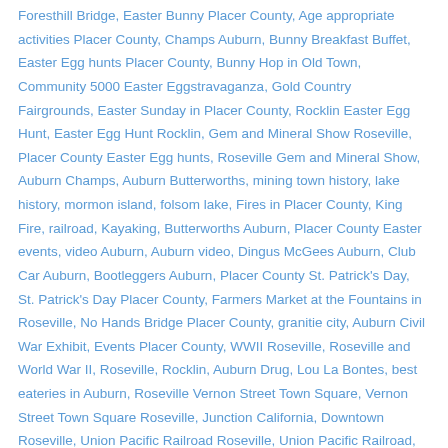Foresthill Bridge, Easter Bunny Placer County, Age appropriate activities Placer County, Champs Auburn, Bunny Breakfast Buffet, Easter Egg hunts Placer County, Bunny Hop in Old Town, Community 5000 Easter Eggstravaganza, Gold Country Fairgrounds, Easter Sunday in Placer County, Rocklin Easter Egg Hunt, Easter Egg Hunt Rocklin, Gem and Mineral Show Roseville, Placer County Easter Egg hunts, Roseville Gem and Mineral Show, Auburn Champs, Auburn Butterworths, mining town history, lake history, mormon island, folsom lake, Fires in Placer County, King Fire, railroad, Kayaking, Butterworths Auburn, Placer County Easter events, video Auburn, Auburn video, Dingus McGees Auburn, Club Car Auburn, Bootleggers Auburn, Placer County St. Patrick's Day, St. Patrick's Day Placer County, Farmers Market at the Fountains in Roseville, No Hands Bridge Placer County, granitie city, Auburn Civil War Exhibit, Events Placer County, WWII Roseville, Roseville and World War II, Roseville, Rocklin, Auburn Drug, Lou La Bontes, best eateries in Auburn, Roseville Vernon Street Town Square, Vernon Street Town Square Roseville, Junction California, Downtown Roseville, Union Pacific Railroad Roseville, Union Pacific Railroad, Southern Pacific Railroad Roseville, Roseville Del Webb, Del Webb Roseville, Roseville Galleria, Galleria Roseville, Roseville's population, Roseville Revitalization Committee, Civil War Exhibit Auburn, Latitudes Restaurant Auburn, House of Tanlines, Tanvilles Home, Commerce Manufacturing Auburn, Mural and...